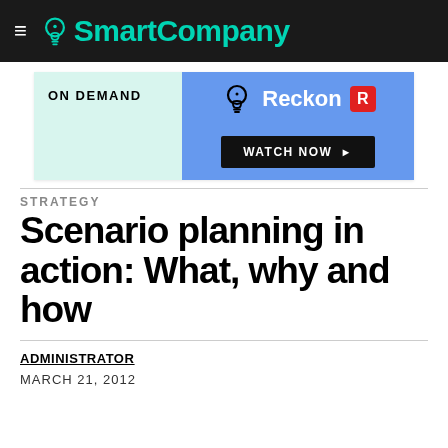SmartCompany
[Figure (other): Advertisement banner: ON DEMAND | Reckon R | WATCH NOW button on blue/light background]
STRATEGY
Scenario planning in action: What, why and how
ADMINISTRATOR
MARCH 21, 2012